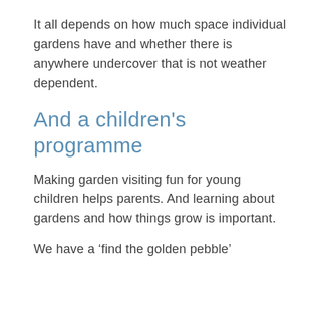It all depends on how much space individual gardens have and whether there is anywhere undercover that is not weather dependent.
And a children’s programme
Making garden visiting fun for young children helps parents. And learning about gardens and how things grow is important.
We have a ‘find the golden pebble’